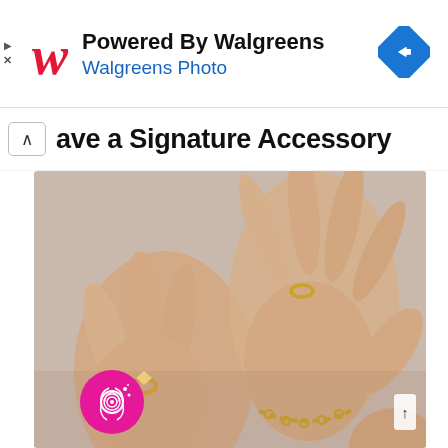[Figure (screenshot): Walgreens Photo advertisement banner with red cursive W logo, 'Powered By Walgreens' text, 'Walgreens Photo' subtitle in blue, and a blue diamond navigation icon on the right. Play and X controls on the left edge.]
ave a Signature Accessory
[Figure (photo): Two hands with gold jewelry including rings and a bracelet, posed against a warm beige background. A magenta circular badge with a fingerprint icon is overlaid in the bottom left corner, and a white scroll-up button is in the bottom right.]